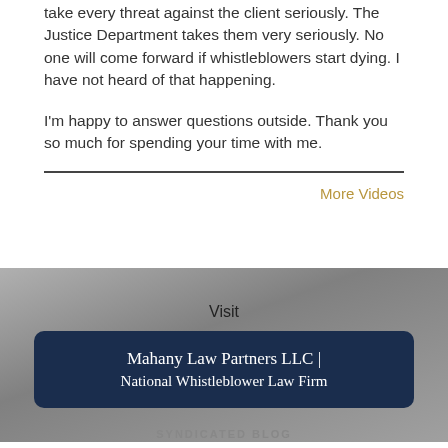take every threat against the client seriously. The Justice Department takes them very seriously. No one will come forward if whistleblowers start dying. I have not heard of that happening.
I'm happy to answer questions outside. Thank you so much for spending your time with me.
More Videos
Visit
Mahany Law Partners LLC | National Whistleblower Law Firm
SYNDICATED BLOG